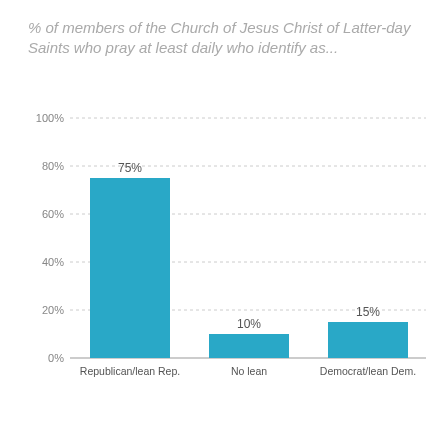% of members of the Church of Jesus Christ of Latter-day Saints who pray at least daily who identify as...
[Figure (bar-chart): % of members of the Church of Jesus Christ of Latter-day Saints who pray at least daily who identify as...]